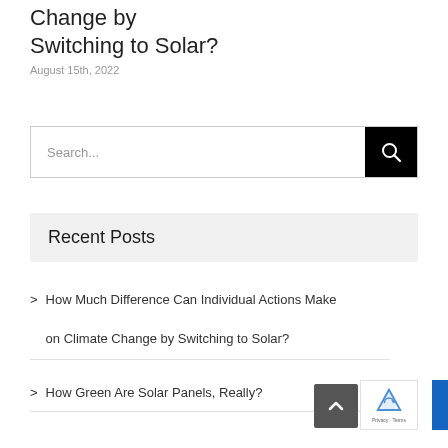Change by Switching to Solar?
August 15th, 2022
[Figure (screenshot): Search input box with black search button on the right containing a magnifying glass icon]
Recent Posts
How Much Difference Can Individual Actions Make on Climate Change by Switching to Solar?
How Green Are Solar Panels, Really?